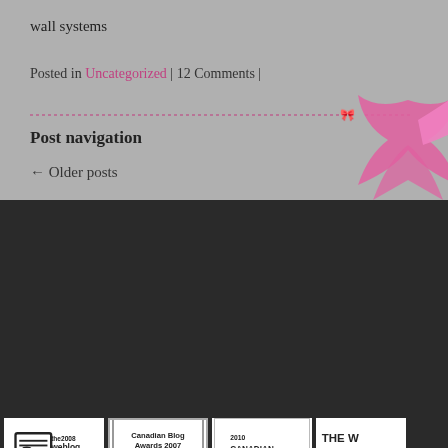wall systems
Posted in Uncategorized | 12 Comments |
Post navigation
← Older posts
[Figure (logo): The 2008 Weblog Awards - Winner - Best Diarist badge]
[Figure (logo): Canadian Blog Awards 2007 - 1st Best Personal Blog badge]
[Figure (logo): 2010 Canadian Weblog Awards - People's Choice First badge]
[Figure (logo): The W... Awards Best Diarist partial badge (cropped)]
About/Contact